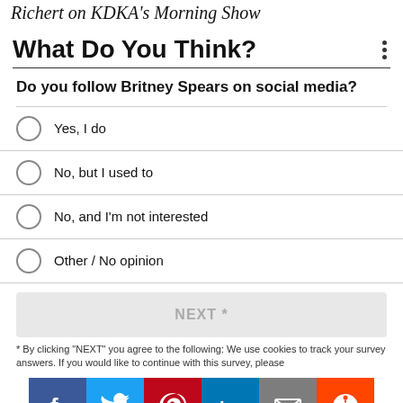Richert on KDKA's Morning Show
What Do You Think?
Do you follow Britney Spears on social media?
Yes, I do
No, but I used to
No, and I'm not interested
Other / No opinion
NEXT *
* By clicking "NEXT" you agree to the following: We use cookies to track your survey answers. If you would like to continue with this survey, please
[Figure (infographic): Social media share buttons: Facebook (blue), Twitter (cyan), Pinterest (red), LinkedIn (teal), Email (gray), Reddit (orange)]